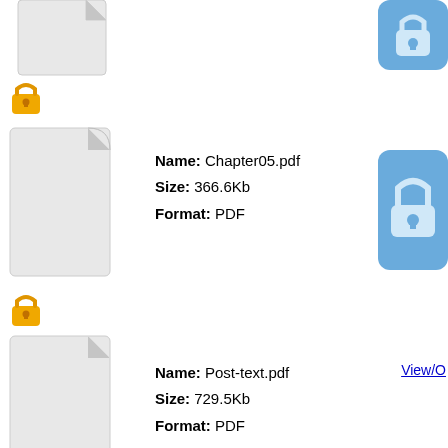[Figure (screenshot): Partial file row at top with document icon cropped and blue lock button cropped at top-right]
[Figure (screenshot): Small gold padlock icon below top file row]
Name: Chapter05.pdf
Size: 366.6Kb
Format: PDF
[Figure (screenshot): Blue rounded lock button on the right side for Chapter05.pdf]
[Figure (screenshot): Small gold padlock icon below Chapter05.pdf row]
Name: Post-text.pdf
Size: 729.5Kb
Format: PDF
View/O
Name: full-thesis.pdf
Size: 1.135Mb
Format: PDF
[Figure (screenshot): Blue rounded lock button on the right side for full-thesis.pdf]
[Figure (screenshot): Small gold padlock icon partially visible at bottom]